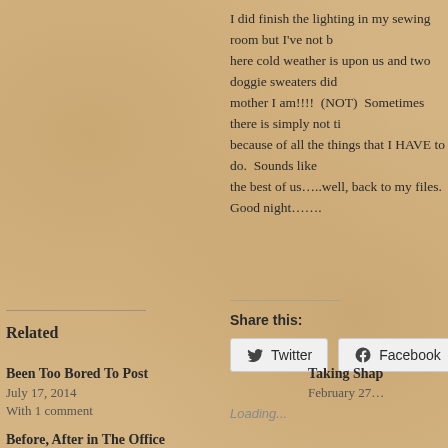I did finish the lighting in my sewing room but I've not b… here cold weather is upon us and two doggie sweaters did… mother I am!!!!  (NOT)  Sometimes there is simply not ti… because of all the things that I HAVE to do.  Sounds like… the best of us…..well, back to my files.  Good night…….
Share this:
Twitter  Facebook
Loading...
Related
Been Too Bored To Post
July 17, 2014
With 1 comment
Taking Shap…
February 27…
Before, After in The Office